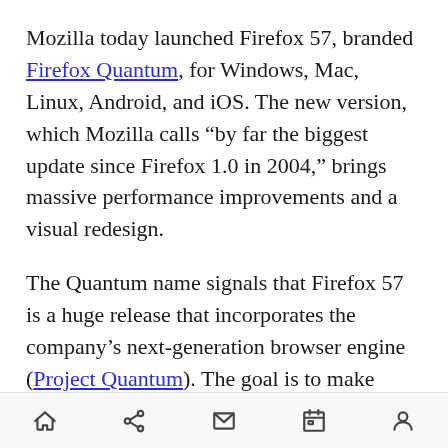Mozilla today launched Firefox 57, branded Firefox Quantum, for Windows, Mac, Linux, Android, and iOS. The new version, which Mozilla calls “by far the biggest update since Firefox 1.0 in 2004,” brings massive performance improvements and a visual redesign.
The Quantum name signals that Firefox 57 is a huge release that incorporates the company’s next-generation browser engine (Project Quantum). The goal is to make Firefox the fastest and smoothest browser for PCs and mobile devices — the company has previously promised that users can expect “some big jumps in capability and
[navigation bar icons: home, share, mail, calendar, profile]